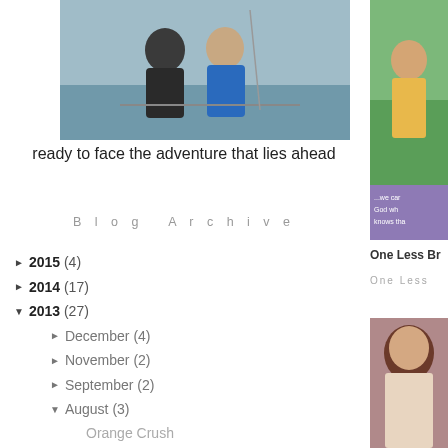[Figure (photo): Photo of two people sitting on a boat, one in a dark jacket and one in a blue jacket]
ready to face the adventure that lies ahead
Blog Archive
► 2015 (4)
► 2014 (17)
▼ 2013 (27)
► December (4)
► November (2)
► September (2)
▼ August (3)
Orange Crush
i heart faces {jump}
Grapevine tea party for two
► July (1)
► April (1)
► March (7)
[Figure (photo): Partial photo of a person outdoors in green surroundings with a purple text overlay reading 'we can God wh knows tha']
One Less Br
One Less
[Figure (photo): Partial photo showing a person with brown hair]